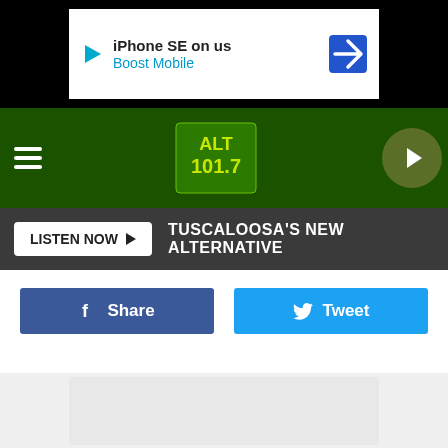[Figure (screenshot): Mobile ad banner showing 'iPhone SE on us' and 'Boost Mobile' with play icon and blue direction arrow icon]
[Figure (logo): ALT 101.7 radio station logo on dark green navigation bar with hamburger menu and play button]
LISTEN NOW  TUSCALOOSA'S NEW ALTERNATIVE
Share
Tweet
[Figure (screenshot): Bottom advertisement placeholder area with light grey background]